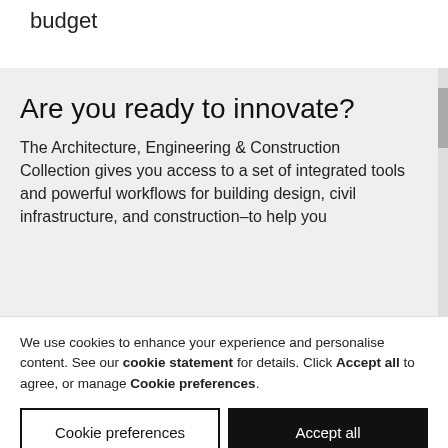budget
Are you ready to innovate?
The Architecture, Engineering & Construction Collection gives you access to a set of integrated tools and powerful workflows for building design, civil infrastructure, and construction–to help you
We use cookies to enhance your experience and personalise content. See our cookie statement for details. Click Accept all to agree, or manage Cookie preferences.
Cookie preferences
Accept all